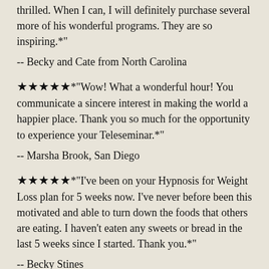thrilled. When I can, I will definitely purchase several more of his wonderful programs. They are so inspiring.*"
-- Becky and Cate from North Carolina
★★★★★*"Wow! What a wonderful hour! You communicate a sincere interest in making the world a happier place. Thank you so much for the opportunity to experience your Teleseminar.*"
-- Marsha Brook, San Diego
★★★★★*"I've been on your Hypnosis for Weight Loss plan for 5 weeks now. I've never before been this motivated and able to turn down the foods that others are eating. I haven't eaten any sweets or bread in the last 5 weeks since I started. Thank you.*"
-- Becky Stines
★★★★★*"Something about Dr. Ken's voice puts me into a deep level of hypnosis and I become more at peace with myself. I love